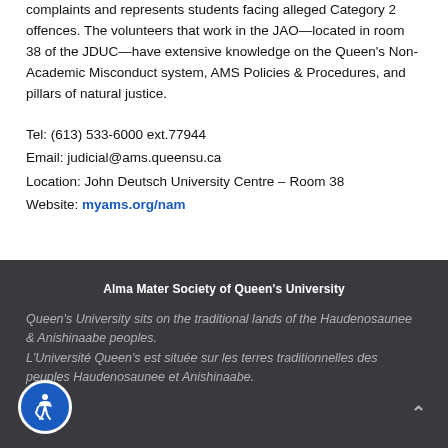complaints and represents students facing alleged Category 2 offences. The volunteers that work in the JAO—located in room 38 of the JDUC—have extensive knowledge on the Queen's Non-Academic Misconduct system, AMS Policies & Procedures, and pillars of natural justice.
Tel: (613) 533-6000 ext.77944
Email: judicial@ams.queensu.ca
Location: John Deutsch University Centre – Room 38
Website: myams.org/nam
Alma Mater Society of Queen's University
Queen's University sits on the traditional lands of the Haudenosaunee & Anishinaabe peoples.
L'Université Queen's est située sur les terres traditionnelles des peuples Haudenosaunee et Anishinaabe.